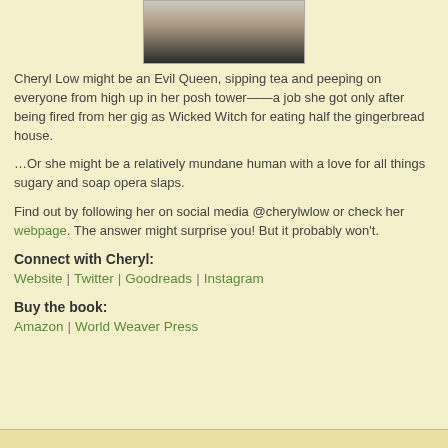[Figure (photo): Author photo of Cheryl Low, partial view showing hair and neckline against dark background]
Cheryl Low might be an Evil Queen, sipping tea and peeping on everyone from high up in her posh tower——a job she got only after being fired from her gig as Wicked Witch for eating half the gingerbread house.
…Or she might be a relatively mundane human with a love for all things sugary and soap opera slaps.
Find out by following her on social media @cherylwlow or check her webpage. The answer might surprise you! But it probably won't.
Connect with Cheryl:
Website  |  Twitter  |  Goodreads  |  Instagram
Buy the book:
Amazon  |  World Weaver Press